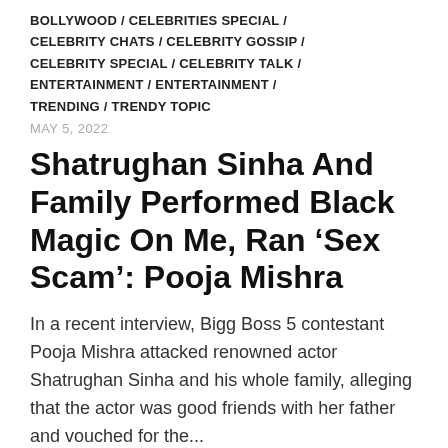BOLLYWOOD / CELEBRITIES SPECIAL / CELEBRITY CHATS / CELEBRITY GOSSIP / CELEBRITY SPECIAL / CELEBRITY TALK / ENTERTAINMENT / ENTERTAINMENT / TRENDING / TRENDY TOPIC
MAY 5, 2022
Shatrughan Sinha And Family Performed Black Magic On Me, Ran ‘Sex Scam’: Pooja Mishra
In a recent interview, Bigg Boss 5 contestant Pooja Mishra attacked renowned actor Shatrughan Sinha and his whole family, alleging that the actor was good friends with her father and vouched for the...